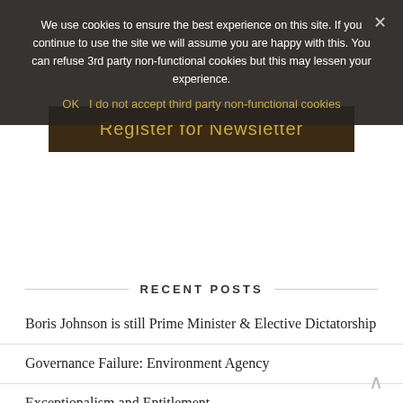We use cookies to ensure the best experience on this site. If you continue to use the site we will assume you are happy with this. You can refuse 3rd party non-functional cookies but this may lessen your experience.
OK   I do not accept third party non-functional cookies
Register for Newsletter
RECENT POSTS
Boris Johnson is still Prime Minister & Elective Dictatorship
Governance Failure: Environment Agency
Exceptionalism and Entitlement
Is it time to adapt to climate change?
Multiple Deprivation and Child Poverty in Faversham